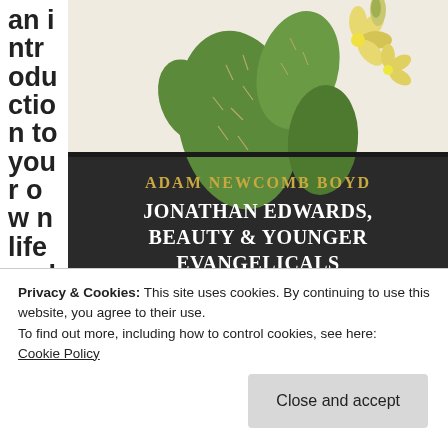an introduction to your own life and
[Figure (photo): Book cover for 'Jonathan Edwards, Beauty & Younger Evangelicals' by Adam Newcomb Boyd. Upper half shows a botanical illustration of a prickly pear cactus with yellow flowers on a cream background. Lower half is dark with author name 'ADAM NEWCOMB BOYD' and title 'JONATHAN EDWARDS, BEAUTY & YOUNGER EVANGELICALS' in large white serif text, with a subtitle in small italic text below.]
Privacy & Cookies: This site uses cookies. By continuing to use this website, you agree to their use.
To find out more, including how to control cookies, see here:
Cookie Policy
Close and accept